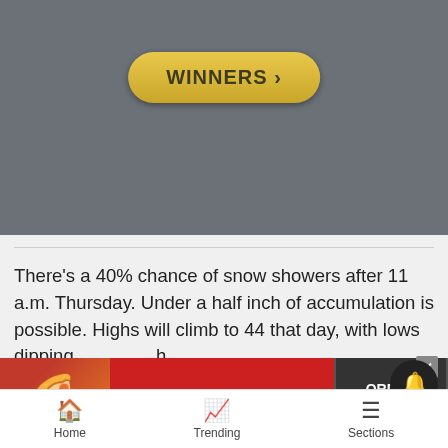[Figure (screenshot): Dark grey banner area with a gold pill-shaped button labeled 'WINNERS >' in bold dark text]
There’s a 40% chance of snow showers after 11 a.m. Thursday. Under a half inch of accumulation is possible. Highs will climb to 44 that day, with lows dippin… snow s… h
[Figure (screenshot): Seamless food delivery advertisement overlay showing pizza slices, seamless logo in red, and ORDER NOW button in dark background]
[Figure (screenshot): Notification bell icon in circular dark button, and X close button]
Home   Trending   Sections